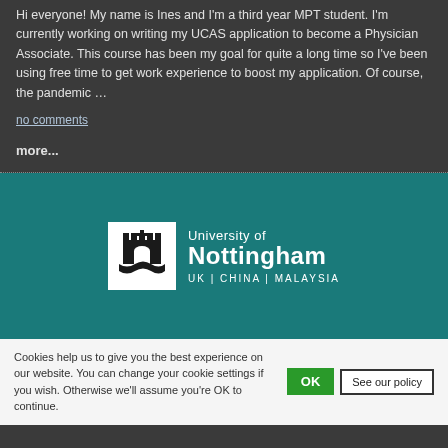Hi everyone! My name is Ines and I'm a third year MPT student. I'm currently working on writing my UCAS application to become a Physician Associate. This course has been my goal for quite a long time so I've been using free time to get work experience to boost my application. Of course, the pandemic …
no comments
more...
[Figure (logo): University of Nottingham logo on teal background — white square with castle emblem, text 'University of Nottingham UK | CHINA | MALAYSIA' in white]
Cookies help us to give you the best experience on our website. You can change your cookie settings if you wish. Otherwise we'll assume you're OK to continue.